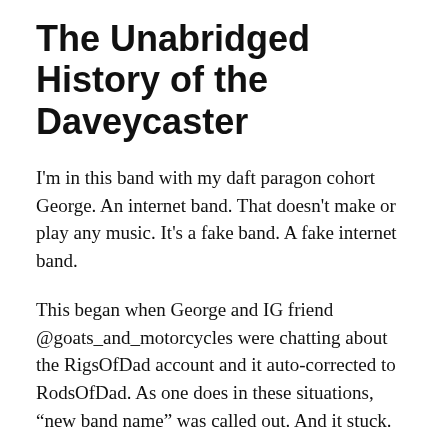The Unabridged History of the Daveycaster
I'm in this band with my daft paragon cohort George. An internet band. That doesn't make or play any music. It's a fake band. A fake internet band.
This began when George and IG friend @goats_and_motorcycles were chatting about the RigsOfDad account and it auto-corrected to RodsOfDad. As one does in these situations, “new band name” was called out. And it stuck.
Eventually I joined. And around the same time (I think), @rudelovephoto came in as well.